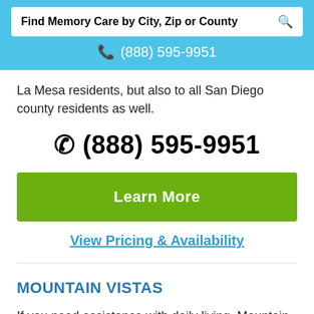Find Memory Care by City, Zip or County
(888) 595-9951
La Mesa residents, but also to all San Diego county residents as well.
(888) 595-9951
Learn More
View Pricing & Availability
MOUNTAIN VISTAS
If you need assistance with daily living, Mountain